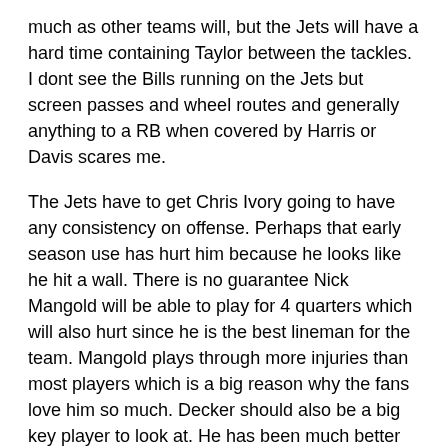much as other teams will, but the Jets will have a hard time containing Taylor between the tackles. I dont see the Bills running on the Jets but screen passes and wheel routes and generally anything to a RB when covered by Harris or Davis scares me.
The Jets have to get Chris Ivory going to have any consistency on offense. Perhaps that early season use has hurt him because he looks like he hit a wall. There is no guarantee Nick Mangold will be able to play for 4 quarters which will also hurt since he is the best lineman for the team. Mangold plays through more injuries than most players which is a big reason why the fans love him so much. Decker should also be a big key player to look at. He has been much better now that Marshall is on the team and he should find himself in some good matchups. They need a big game from him.  Jets 24 Bills 21
EAGLES (-6) over Dolphins– The Eagles are starting to resemble a bit more of what was expected of them when